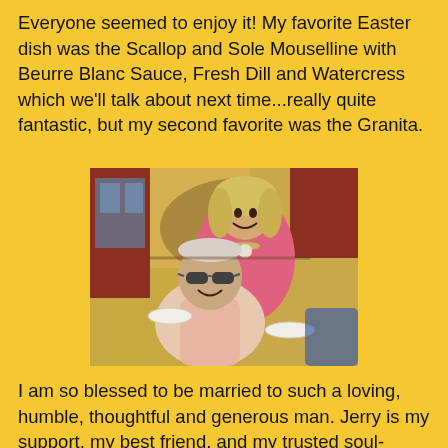Everyone seemed to enjoy it! My favorite Easter dish was the Scallop and Sole Mouselline with Beurre Blanc Sauce, Fresh Dill and Watercress which we'll talk about next time...really quite fantastic, but my second favorite was the Granita.
[Figure (photo): A smiling couple outdoors. A woman with blonde hair wearing a pink top stands behind a seated older man wearing sunglasses and a light pink shirt. They appear to be at an outdoor gathering.]
I am so blessed to be married to such a loving, humble, thoughtful and generous man. Jerry is my support, my best friend, and my trusted soul-mate. How fabulous to celebrate another beautiful Easter with my husband and very good